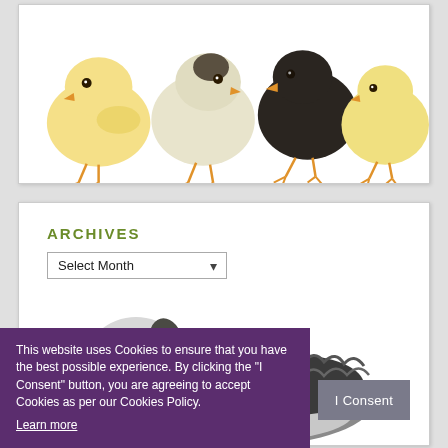[Figure (photo): Four baby chicks (two yellow, one grey-white, one black) standing in a row on a white background]
ARCHIVES
[Figure (screenshot): A 'Select Month' dropdown widget with a downward-pointing arrow]
[Figure (photo): A shaggy grey and white Old English Sheepdog lying down, partially visible]
This website uses Cookies to ensure that you have the best possible experience. By clicking the "I Consent" button, you are agreeing to accept Cookies as per our Cookies Policy. Learn more